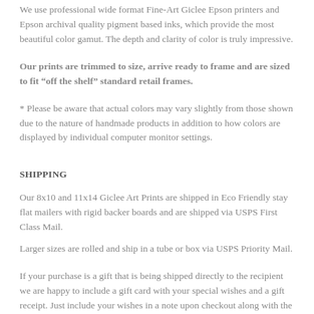We use professional wide format Fine-Art Giclee Epson printers and Epson archival quality pigment based inks, which provide the most beautiful color gamut. The depth and clarity of color is truly impressive.
Our prints are trimmed to size, arrive ready to frame and are sized to fit “off the shelf” standard retail frames.
* Please be aware that actual colors may vary slightly from those shown due to the nature of handmade products in addition to how colors are displayed by individual computer monitor settings.
SHIPPING
Our 8x10 and 11x14 Giclee Art Prints are shipped in Eco Friendly stay flat mailers with rigid backer boards and are shipped via USPS First Class Mail.
Larger sizes are rolled and ship in a tube or box via USPS Priority Mail.
If your purchase is a gift that is being shipped directly to the recipient we are happy to include a gift card with your special wishes and a gift receipt. Just include your wishes in a note upon checkout along with the recipients name and mailing address and we’ll take care of the rest!
INTERNATIONAL SHIPPING